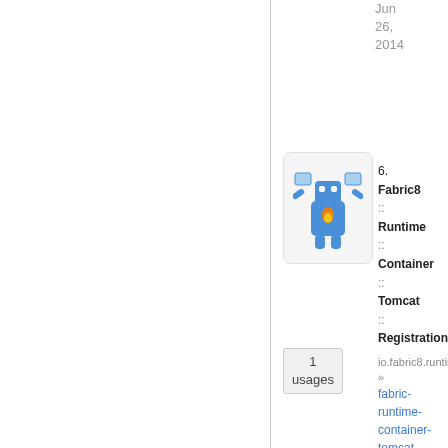Jun 26, 2014
[Figure (illustration): Fabric8 mascot icon - blue robot/creature with arms raised holding screens, on light gray rounded background]
6.
Fabric8
::
Runtime
::
Container
::
Tomcat
::
Registration
1 usages
io.fabric8.runtime »
fabric-runtime-container-tomcat-registration
Apache
Fabric8
::
Runtime
::
Container
::
Tomcat